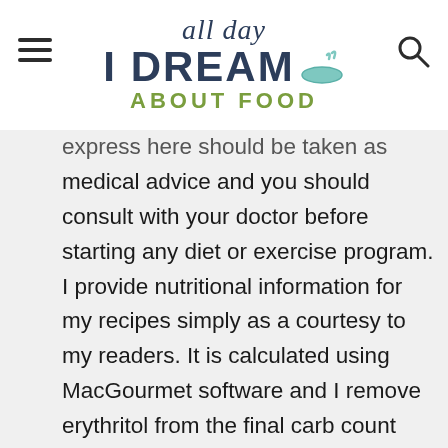all day I DREAM ABOUT FOOD
express here should be taken as medical advice and you should consult with your doctor before starting any diet or exercise program. I provide nutritional information for my recipes simply as a courtesy to my readers. It is calculated using MacGourmet software and I remove erythritol from the final carb count and net carb count, as it does not affect my own blood glucose levels. I do my best to be as accurate as possible but you should